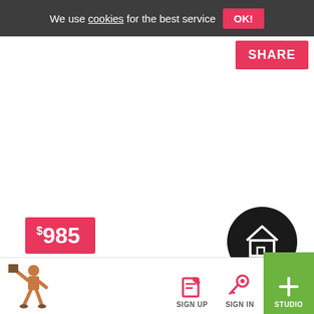We use cookies for the best service  OK!
SHARE
$985
521 West Briar Pl.
0 ft² Immediately – Indefinite period
[Figure (logo): The Apartment Source logo — white house outline on black circle with text THE APARTMENT SOURCE]
[Figure (illustration): Person walking figure icon in brown/tan color at bottom left]
SIGN UP  SIGN IN  + STUDIO